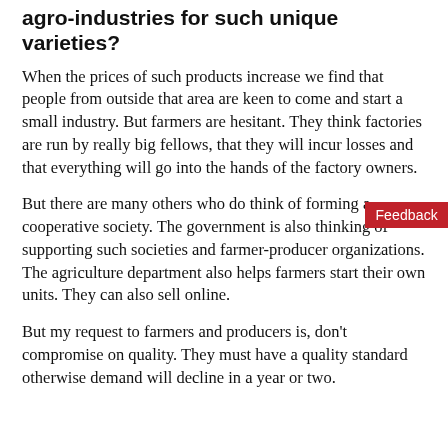agro-industries for such unique varieties?
When the prices of such products increase we find that people from outside that area are keen to come and start a small industry. But farmers are hesitant. They think factories are run by really big fellows, that they will incur losses and that everything will go into the hands of the factory owners.
But there are many others who do think of forming a cooperative society. The government is also thinking of supporting such societies and farmer-producer organizations. The agriculture department also helps farmers start their own units. They can also sell online.
But my request to farmers and producers is, don't compromise on quality. They must have a quality standard otherwise demand will decline in a year or two.